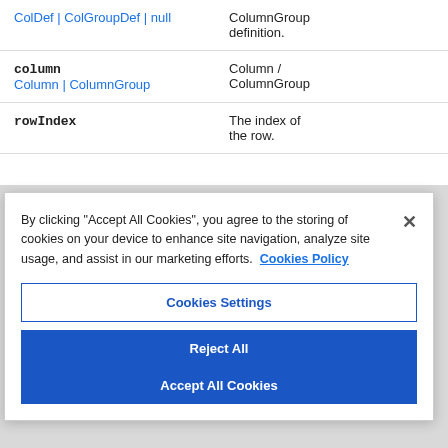| Parameter | Description |
| --- | --- |
| ColDef | ColGroupDef | null | ColumnGroup definition. |
| column
Column | ColumnGroup | Column / ColumnGroup |
| rowIndex | The index of the row. |
By clicking "Accept All Cookies", you agree to the storing of cookies on your device to enhance site navigation, analyze site usage, and assist in our marketing efforts. Cookies Policy
Cookies Settings
Reject All
Accept All Cookies